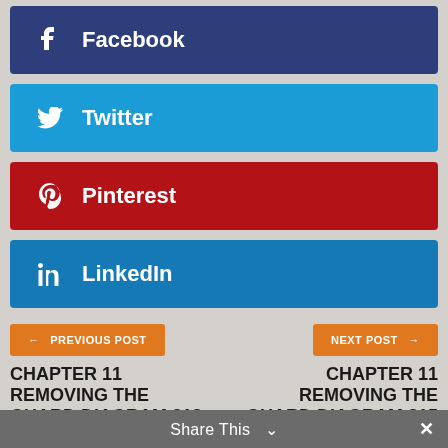Facebook
Twitter
Pinterest
LinkedIn
← PREVIOUS POST
NEXT POST →
CHAPTER 11 REMOVING THE GUARD DIAGRAM 313 - WHITE WINS THE ROOK IN 3 MOVES!
CHAPTER 11 REMOVING THE GUARD DIAGRAM 315 - WHITE WINS BOTH ROOKS FOR A ROOK IN 3 MOVES!
Share This ∨  ✕